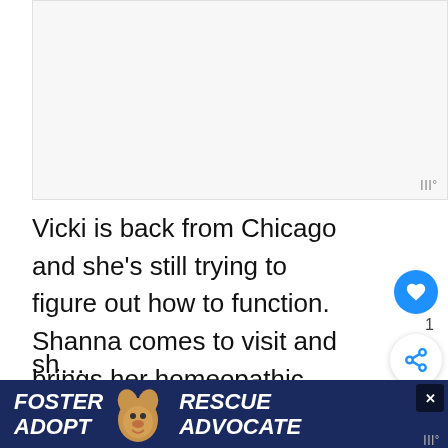[Figure (other): Advertisement placeholder area, light gray box]
Vicki is back from Chicago and she’s still trying to figure out how to function. Shannon comes to visit and brings her homeopathic remedies for grief, which is very sweet of h Vicki is still struggling with her moth sudden departure. She asks Shannon if she
[Figure (other): Foster Rescue Adopt Advocate dog adoption advertisement banner at the bottom of the page]